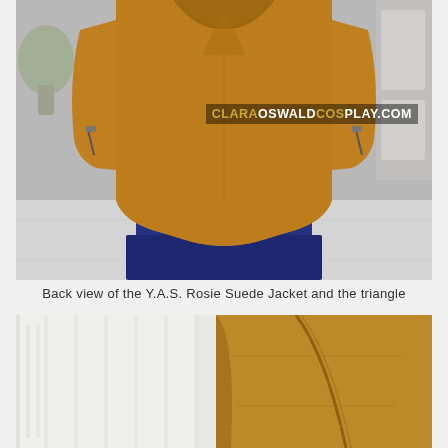[Figure (photo): Back view of a tan/mustard suede jacket displayed on a gray dress form mannequin, with blue fabric below, orange stand, and a watermark 'CLARAOSWALDCOSPLAY.COM' in the upper right area of the photo.]
Back view of the Y.A.S. Rosie Suede Jacket and the triangle
[Figure (photo): Close-up detail view of the tan/mustard suede jacket fabric, showing texture and seam detail on the right side, with a light/white area on the left side of the image.]